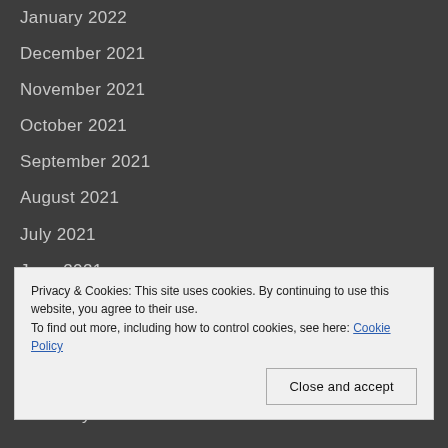January 2022
December 2021
November 2021
October 2021
September 2021
August 2021
July 2021
June 2021
May 2021
April 2021
March 2021
February 2021
Privacy & Cookies: This site uses cookies. By continuing to use this website, you agree to their use.
To find out more, including how to control cookies, see here: Cookie Policy
Close and accept